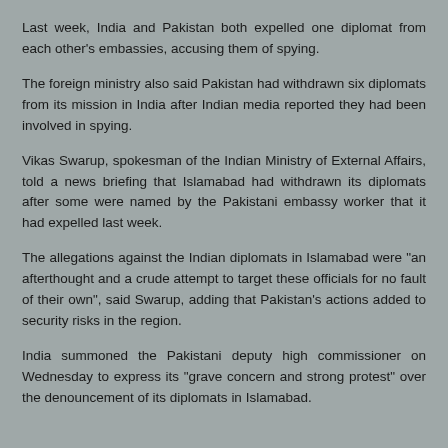Last week, India and Pakistan both expelled one diplomat from each other's embassies, accusing them of spying.
The foreign ministry also said Pakistan had withdrawn six diplomats from its mission in India after Indian media reported they had been involved in spying.
Vikas Swarup, spokesman of the Indian Ministry of External Affairs, told a news briefing that Islamabad had withdrawn its diplomats after some were named by the Pakistani embassy worker that it had expelled last week.
The allegations against the Indian diplomats in Islamabad were "an afterthought and a crude attempt to target these officials for no fault of their own", said Swarup, adding that Pakistan's actions added to security risks in the region.
India summoned the Pakistani deputy high commissioner on Wednesday to express its "grave concern and strong protest" over the denouncement of its diplomats in Islamabad.